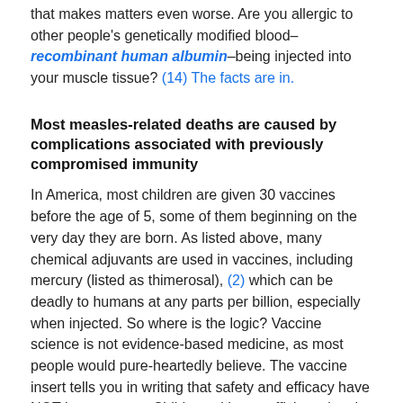that makes matters even worse. Are you allergic to other people's genetically modified blood– recombinant human albumin–being injected into your muscle tissue? (14) The facts are in.
Most measles-related deaths are caused by complications associated with previously compromised immunity
In America, most children are given 30 vaccines before the age of 5, some of them beginning on the very day they are born. As listed above, many chemical adjuvants are used in vaccines, including mercury (listed as thimerosal), (2) which can be deadly to humans at any parts per billion, especially when injected. So where is the logic? Vaccine science is not evidence-based medicine, as most people would pure-heartedly believe. The vaccine insert tells you in writing that safety and efficacy have NOT been proven. Children without sufficient vitamin A or D3 are susceptible to complications that may otherwise have never arisen. However, even the CDC and WHO, the World Health Organization, (9) admit that complications from the measles CAN BE AVOIDED through supportive care that ENSURES GOOD NUTRITION